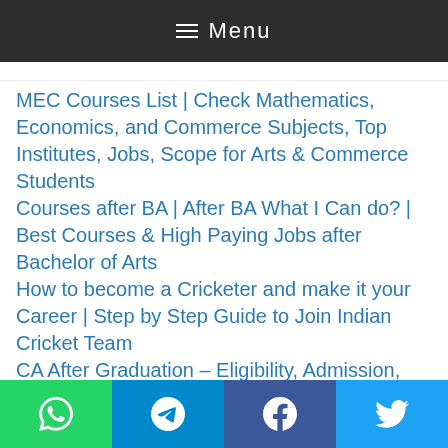≡ Menu
MEC Courses List | Check Mathematics, Economics, and Commerce Subjects, Top Institutes, Jobs, Scope for Arts & Commerce Students
Courses after BA | After BA What I Can do? | Best Courses & High Paying Jobs after Bachelor of Arts
How to become a Cricketer and make it your Career | Step by Step Guide to Join Indian Cricket Team
CA After Graduation – Eligibility, Admission, Fees, Duration, Syllabus, Career Prospects
10 Lines about Myself for Students and...